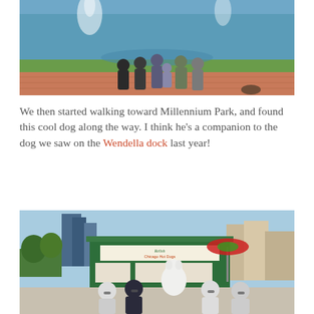[Figure (photo): Group of people (family) posing in front of a large fountain in a park. Sunny day, green grass visible.]
We then started walking toward Millennium Park, and found this cool dog along the way. I think he's a companion to the dog we saw on the Wendella dock last year!
[Figure (photo): Four young people posing in front of a 'Relish Chicago Hot Dogs' kiosk with a white dog statue. Chicago skyline visible in background.]